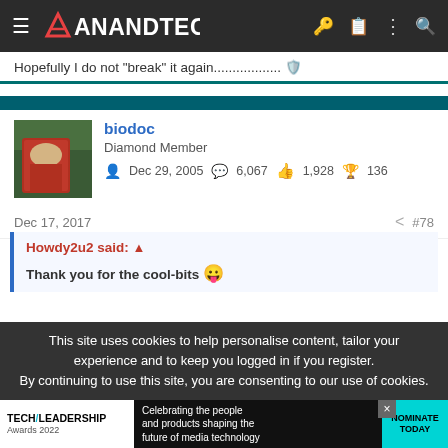AnandTech navigation bar
Hopefully I do not "break" it again.................. 🛡️
biodoc — Diamond Member — Dec 29, 2005 — 6,067 posts — 1,928 likes — 136 trophies
Dec 17, 2017   #78
Howdy2u2 said: ↑

Thank you for the cool-bits 😛
This site uses cookies to help personalise content, tailor your experience and to keep you logged in if you register.
By continuing to use this site, you are consenting to our use of cookies.
TECH/LEADERSHIP Awards 2022 — Celebrating the people and products shaping the future of media technology — NOMINATE TODAY